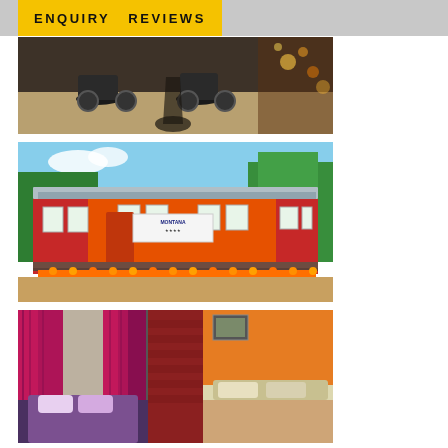ENQUIRY   REVIEWS
[Figure (photo): Aerial/top-down view of motorcycles parked on a road with a person's shadow visible]
[Figure (photo): Exterior of an orange and red building with a corrugated metal roof, banner sign, porch with marigold flowers, set against blue sky with trees]
[Figure (photo): Interior bedroom with pink/magenta curtains, colorful bedding, brick wall, and beds with pillows]
[Figure (photo): Partial view of another photo at the bottom (cut off)]